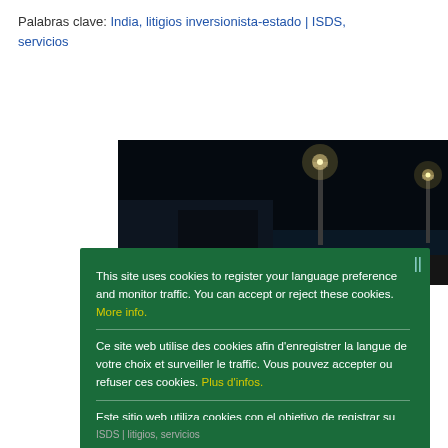Palabras clave: India, litigios inversionista-estado | ISDS, servicios
[Figure (photo): Night photograph showing street lights or stadium lights against a dark sky]
This site uses cookies to register your language preference and monitor traffic. You can accept or reject these cookies. More info.
Ce site web utilise des cookies afin d'enregistrer la langue de votre choix et surveiller le traffic. Vous pouvez accepter ou refuser ces cookies. Plus d'infos.
Este sitio web utiliza cookies con el objetivo de registrar su idioma preferido y controlar el tráfico. Puede aceptar o rechazar estas cookies. Mayor información.
Ok
ISDS | litigios, servicios